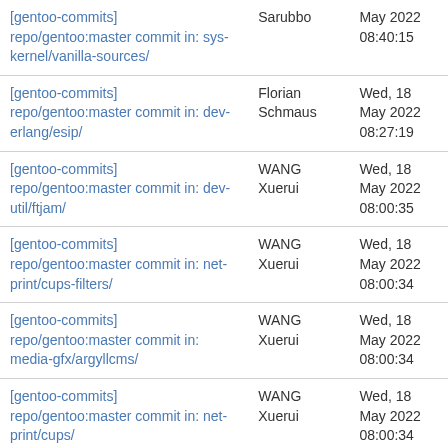| Subject | From | Date |
| --- | --- | --- |
| [gentoo-commits] repo/gentoo:master commit in: sys-kernel/vanilla-sources/ | Sarubbo | May 2022 08:40:15 |
| [gentoo-commits] repo/gentoo:master commit in: dev-erlang/esip/ | Florian Schmaus | Wed, 18 May 2022 08:27:19 |
| [gentoo-commits] repo/gentoo:master commit in: dev-util/ftjam/ | WANG Xuerui | Wed, 18 May 2022 08:00:35 |
| [gentoo-commits] repo/gentoo:master commit in: net-print/cups-filters/ | WANG Xuerui | Wed, 18 May 2022 08:00:34 |
| [gentoo-commits] repo/gentoo:master commit in: media-gfx/argyllcms/ | WANG Xuerui | Wed, 18 May 2022 08:00:34 |
| [gentoo-commits] repo/gentoo:master commit in: net-print/cups/ | WANG Xuerui | Wed, 18 May 2022 08:00:34 |
| [gentoo-commits] repo/gentoo:master commit in: x11- | WANG Xuerui | Wed, 18 May 2022 |